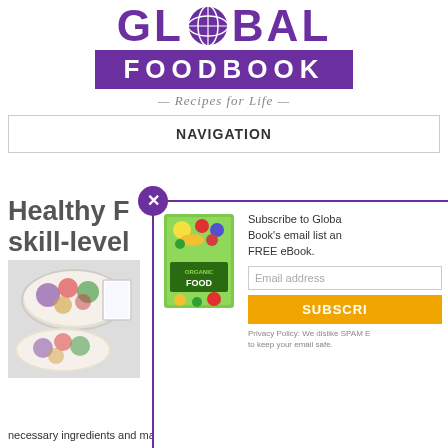[Figure (logo): Global Foodbook logo with globe icon, purple 'GLOBAL' text, purple bar with 'FOODBOOK', and 'Recipes for Life' tagline]
NAVIGATION
Healthy F... skill-level
[Figure (photo): Food photo showing bowls of salad and a glass of milk/dressing]
W... F... 0.0... W... gr... ma... necessary ingredients and make this
[Figure (other): Popup subscription modal with organic food ebook cover, Subscribe to Global Book's email list and FREE eBook, email address field, SUBSCRIBE button, Privacy Policy note]